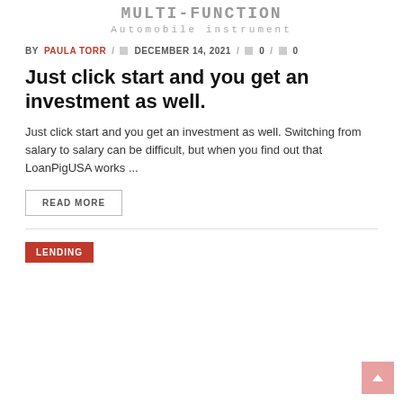Automobile instrument
BY PAULA TORR / DECEMBER 14, 2021 / 0 / 0
Just click start and you get an investment as well.
Just click start and you get an investment as well. Switching from salary to salary can be difficult, but when you find out that LoanPigUSA works ...
READ MORE
LENDING